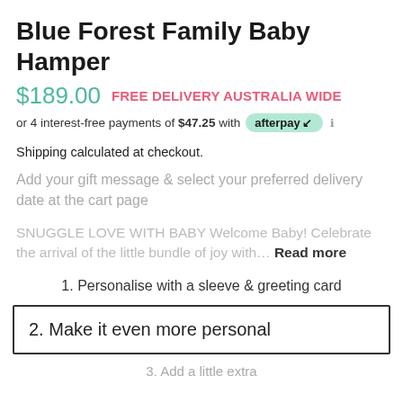Blue Forest Family Baby Hamper
$189.00  FREE DELIVERY AUSTRALIA WIDE
or 4 interest-free payments of $47.25 with afterpay
Shipping calculated at checkout.
Add your gift message & select your preferred delivery date at the cart page
SNUGGLE LOVE WITH BABY Welcome Baby! Celebrate the arrival of the little bundle of joy with… Read more
1. Personalise with a sleeve & greeting card
2. Make it even more personal
3. Add a little extra